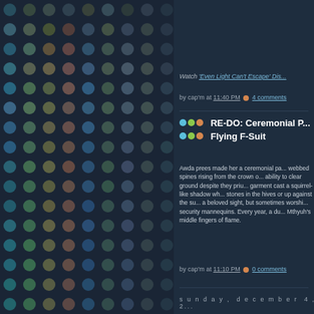[Figure (illustration): Dark navy background with colorful polka dot grid pattern covering the left portion of the page. Dots are arranged in a regular grid and colored in muted tones of teal, green, olive, red-brown, and blue-grey on a dark navy background.]
Watch 'Even Light Can't Escape' Dis[covery...]
by cap'm at 11:40 PM 🔶 4 comments
RE-DO: Ceremonial P[ack] Flying F-Suit
Awda prees made her a ceremonial pa[ck with] webbed spines rising from the crown o[f the] ability to clear ground despite they priu[...] garment cast a squirrel-like shadow wh[en...] stones in the hives or up against the su[n...] a beloved sight, but sometimes worshi[pped...] security mannequins. Every year, a du[...] Mthyuh's middle fingers of flame.
by cap'm at 11:10 PM 🔶 0 comments
sunday, december 4, 2[...]